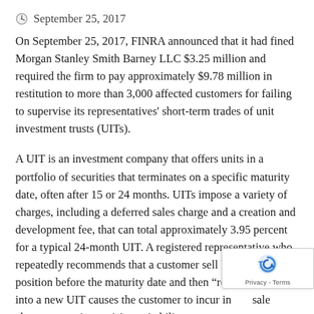September 25, 2017
On September 25, 2017, FINRA announced that it had fined Morgan Stanley Smith Barney LLC $3.25 million and required the firm to pay approximately $9.78 million in restitution to more than 3,000 affected customers for failing to supervise its representatives’ short-term trades of unit investment trusts (UITs).
A UIT is an investment company that offers units in a portfolio of securities that terminates on a specific maturity date, often after 15 or 24 months. UITs impose a variety of charges, including a deferred sales charge and a creation and development fee, that can total approximately 3.95 percent for a typical 24-month UIT. A registered representative who repeatedly recommends that a customer sell his or her UIT position before the maturity date and then “rolls over” funds into a new UIT causes the customer to incur initial sale charges over time, raising suitability concerns.